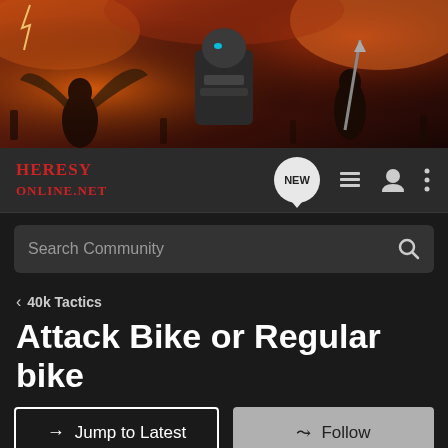[Figure (illustration): Fantasy battle scene banner with armored warriors, fire, and dramatic lighting in dark orange/red tones]
HERESY ONLINE.NET
Search Community
< 40k Tactics
Attack Bike or Regular bike
→ Jump to Latest
+ Follow
1 - 6 of 6 Posts
evantar · Registered
Joined Dec 31, 2007 · 56 Posts